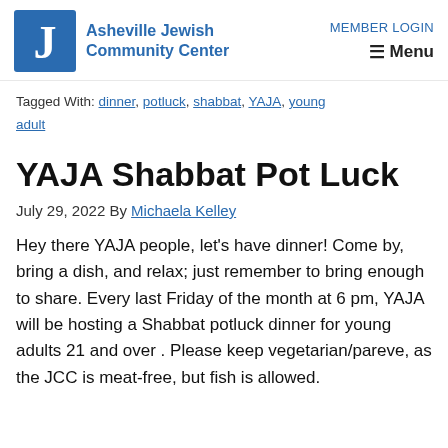Asheville Jewish Community Center | MEMBER LOGIN | Menu
Tagged With: dinner, potluck, shabbat, YAJA, young adult
YAJA Shabbat Pot Luck
July 29, 2022 By Michaela Kelley
Hey there YAJA people, let's have dinner! Come by, bring a dish, and relax; just remember to bring enough to share. Every last Friday of the month at 6 pm, YAJA will be hosting a Shabbat potluck dinner for young adults 21 and over . Please keep vegetarian/pareve, as the JCC is meat-free, but fish is allowed.